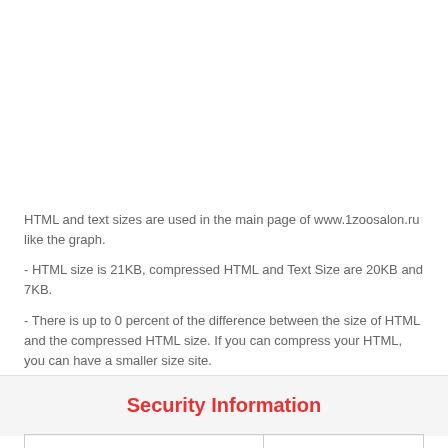HTML and text sizes are used in the main page of www.1zoosalon.ru like the graph.
- HTML size is 21KB, compressed HTML and Text Size are 20KB and 7KB.
- There is up to 0 percent of the difference between the size of HTML and the compressed HTML size. If you can compress your HTML, you can have a smaller size site.
Security Information
| Google Safe Browsing | : No Risk |
| --- | --- |